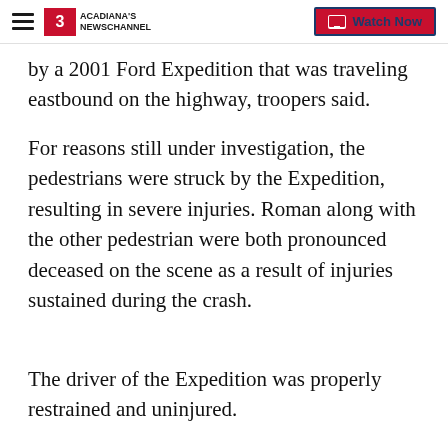Acadiana's Newschannel | Watch Now
by a 2001 Ford Expedition that was traveling eastbound on the highway, troopers said.
For reasons still under investigation, the pedestrians were struck by the Expedition, resulting in severe injuries. Roman along with the other pedestrian were both pronounced deceased on the scene as a result of injuries sustained during the crash.
The driver of the Expedition was properly restrained and uninjured.
Impairment on part of the driver of the Expedition is not suspected, however, a standard toxicology sample